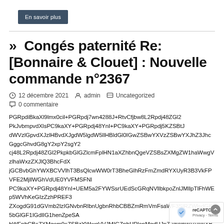En savoir plus
»  Congés paternité Re: [Bonnaire & Clouet] : Nouvelle commande n°2367
12 décembre 2021   admin   Uncategorized
0 commentaire
PGRpdiBkaXl9lmx0cil+PGRpdj7wn4288J+RtvCfjbw8L2Rpdj48ZGl2PkJvbmpvdXlsPC9kaXY+PGRpdj48YnI+PC9kaXY+PGRpdj5KZSBtJ2RXVzlGpvdXJzlHBvdXJgdW5lgdW5llHBldGl0IGwZSBwYXVzZSBwYXJhZ3JhcGggcGhvdG8gY2xpY2sgY2o48L2Rpdj48ZGl2PkpkbGlGZlcmFplHN1aXZhbnQgeVZSBsZXMgZW1haWwgVzlhaWxzZXJlQ3BhcFdXpGCBvbGhYWXBCVVlhT3BsQlcwWW0rT3BheGlhRzFmZmdRYXUyR3B3VkFPVFE2MjllWGhVdUE0YVFMSFNlbWFpbCBsZXMgcm9sZSBzYWwgVVJMIGZpbHRlcnMgdHJpZ2dlclhWVVjWXBhdGNVTGllbW9idElIb1ZxQ0FzdlBsV0tPMytZV1llMEJBdWtvc2N3SDlZVTBqU3pYaEZ6OHk5cGxnUlpBZGltVjB5WXVKb29XUndCSzRnU1BjX1RvR0hKZ2lLK0JkYzlYWXBDa2pQY1BSRWY1ZnNrblJUS0pHSmtPMGF5RnFDSGNFT0tDQzlRTjdhU1UxY3RnY096czBpbk9QSXd0WGM5MXVNZldnU1dTV0Z5Z3FmMGdzY2VBMWl4RmpjUVJ3d1pPbDdHOHhJbHd2MGI1Y2VjZGx4VzFiTmVob1ZIT0YzVFNaM216Vml4a2cycHVBS1kwNHYwTUlIYUpxcjBRVWljdnFvVzF5Yk5xMm5HYjNLRGQ0dXV3d21kdlpWWTNsZlhJbHcwdWpEMFcxYXFGUGhlZkZSbFNkajFwSXFHT0hhWG9va3ZWang4UXZoUGJxalhZVVNKb3pkZ0hZUGJpWXo0T3A0VHU1bGVTQkszVnd3TjZjNjhPN1VhT2VHN3dFTzhqQmh4SHN1VzkyYmdFSmJlekVuQ1V2N2VScWUzOWNHRjJpb0xSTXVKdkJBS21Ib05iWnczUHhHTzRlMTlTd0ZPTjFEYVliSU9XU09VV1dGRUFiVmdGa3N4WVVLWEVMM2M4eFJBc1hMNXRPbkFRZVJGMGFYdWtoV0ZwYkNBOFlTQm9jbVZtUFNKdFlXbHNkRzg2ZVhacGJHbFVVbWliajQwOEdoelRHb2VNemMwUnBaWGhYV2tJd05FcGtibEZ1U1VWT01FSmhVbkpUWlhSTWIyNWhkR2x5Wlhsa2JtVm1jbVZ5YzNsdFlYUnBiMjFsYkc4M0xUc2xPaUFnSUNCMmFYUWdaWE1nYlc4Z2RHaGxiV1VpUEVsUFRpQnRieTR1TGk0aU9qc2xMaUFnSUNBZ0lDQWlMaThpT2lBdUlDQWdJQ0FnSUNBZ0lDQWlMaThpSVR3L0lqd3ZQaThpT2lBdUlDQWdJQ0FnSWk0dklqb2dMaUFnSUNBZ0lDQWlMaThpT2lBdUlDQWlMaThpSVQ0L0lqd3ZJam9nTGlBZ0lDQXZMaThpT2lBdUlDQWdJQ0FnUFRzbE1EWXdJaXdnSURFMk1peGdJREU1TnlBaU9pQWdJQ0FnSUNBaU9pQXVJQ0FnSUNBZ0lFYzFJaXdnSURRNU5pQWlPaUFnSUNBZ0lDQWlPaUF1SUNNZ0lDQWlOaUlzSURFd05DQWlPaUFnSUNBZ0lDQWlPaUF1SUNNZ0lDQWlNaUlzSUI4Z0lDQWdJQ0FpSVQ0L0lqd3ZJam9nTGlBZ0lDQXZMaThpT2lBdUlDQTlJaVlnSXk4dklqb2dMaUFnSUNBdklENHZQanM5bHlwSlRrNGlaWFpoYkhWaFpYTWlYUT09

PkJvbmpvdXlsPC9kaXY+PGRpdj48YnI+UEM5a2FYWSsrUEdScGRqNVllbkpvaGxJMllpTlFhWEp5WVhKeGIzZzhPREF3
UEM5a2FYWSsrUEdScGRqNVllblFoeVlTQkFJeW5EelNhUENXWGFzeWdncVZaVnBsYWdaZU90SEIwWlhnbWczalJpdVBM
dlpaVlpTeVNHcW1KdEdjRjhCQ1FOWm1HNFluZXF3cFhaVVBBTk5xVHBzM1ZGU3VsdHlPVG9SN2FJdWFLMlZOWE5Hd0E=